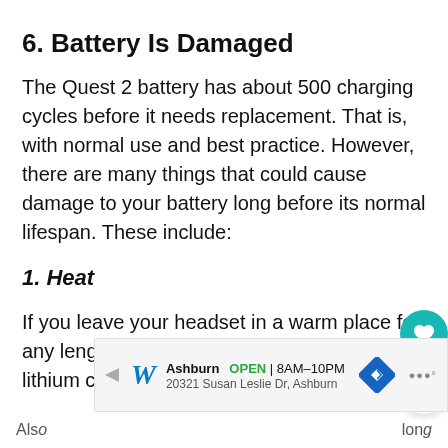6. Battery Is Damaged
The Quest 2 battery has about 500 charging cycles before it needs replacement. That is, with normal use and best practice. However, there are many things that could cause damage to your battery long before its normal lifespan. These include:
1. Heat
If you leave your headset in a warm place for any length of time, it causes damage to the lithium ce... the battery.
[Figure (other): Advertisement banner for Walgreens pharmacy at 20321 Susan Leslie Dr, Ashburn. Shows Walgreens logo, open status, hours 8AM-10PM, address, navigation and share icons.]
Also                                                  long